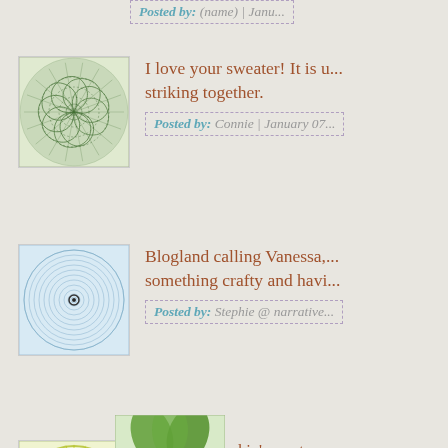[Figure (illustration): Cropped top of page showing partial 'Posted by: (name) | Janu...' label from previous comment]
I love your sweater! It is u... striking together.
Posted by: Connie | January 07...
Blogland calling Vanessa,... something crafty and havi...
Posted by: Stephie @ narrative...
that is one rockin' sweater... waist. I know, I just had a... Christmas my dear. we we... tea cosy got a lot of use!
Posted by: rosepetaljam | Janu...